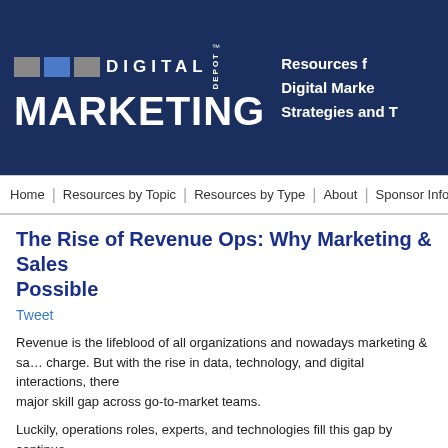Digital Marketing Depot — Resources for Digital Marketing Strategies and Tips
Home | Resources by Topic | Resources by Type | About | Sponsor Info
The Rise of Revenue Ops: Why Marketing & Sales Alignment is Possible
Tweet
Revenue is the lifeblood of all organizations and nowadays marketing & sales are in charge. But with the rise in data, technology, and digital interactions, there is a major skill gap across go-to-market teams.
Luckily, operations roles, experts, and technologies fill this gap by continuously growing and evolving to deliver the strategic growth the C-suite has come to expect. This created the potential for an entirely new model called Revenue Ops.
Download this white paper from Radius to learn more about Revenue Ops and why it is the linchpin for scalable growth.
Download Now
Sponsored by Radius